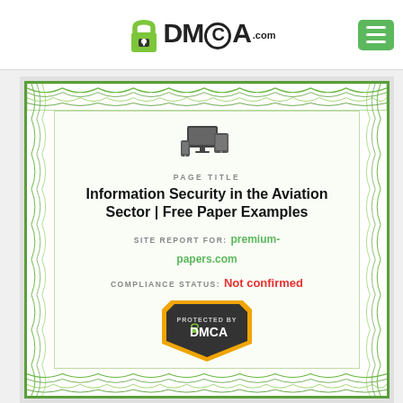[Figure (logo): DMCA.com logo with padlock icon and green menu hamburger button]
[Figure (infographic): DMCA certificate with guilloche border, device icon, page title, site report, compliance status, and DMCA protected badge]
PAGE TITLE
Information Security in the Aviation Sector | Free Paper Examples
SITE REPORT FOR: premium-papers.com
COMPLIANCE STATUS: Not confirmed
PROTECTED BY DMCA